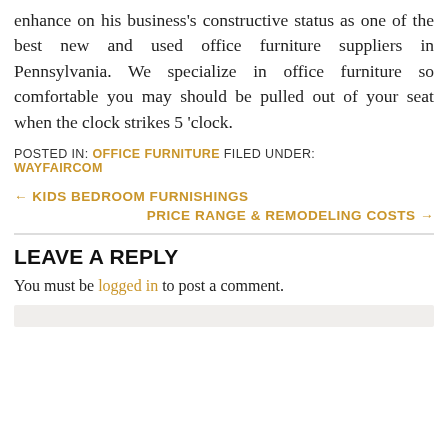enhance on his business's constructive status as one of the best new and used office furniture suppliers in Pennsylvania. We specialize in office furniture so comfortable you may should be pulled out of your seat when the clock strikes 5 'clock.
POSTED IN: OFFICE FURNITURE FILED UNDER: WAYFAIRCOM
← KIDS BEDROOM FURNISHINGS
PRICE RANGE & REMODELING COSTS →
LEAVE A REPLY
You must be logged in to post a comment.